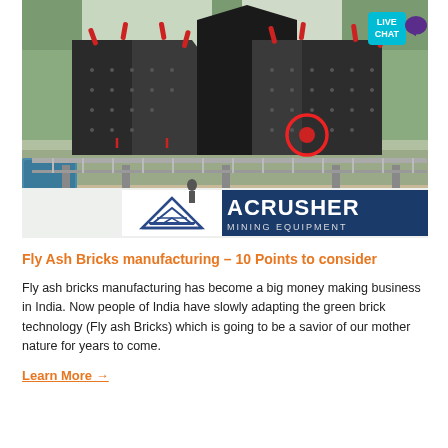[Figure (photo): Photo of large industrial mining crushers (dark gray heavy machinery) mounted on an elevated steel platform with a railing, with forest and hills in background. In the foreground, a blue banner reads 'ACRUSHER MINING EQUIPMENT' with a triangular logo. A red circle highlights a component on the right crusher. A 'LIVE CHAT' badge is overlaid in the top-right corner.]
Fly Ash Bricks manufacturing – 10 Points to consider
Fly ash bricks manufacturing has become a big money making business in India. Now people of India have slowly adapting the green brick technology (Fly ash Bricks) which is going to be a savior of our mother nature for years to come.
Learn More →